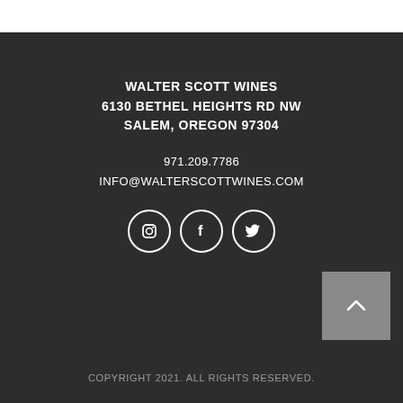WALTER SCOTT WINES
6130 BETHEL HEIGHTS RD NW
SALEM, OREGON 97304
971.209.7786
INFO@WALTERSCOTTWINES.COM
[Figure (illustration): Three social media icons in circles: Instagram, Facebook, Twitter]
[Figure (illustration): Back to top button with upward chevron arrow]
COPYRIGHT 2021. ALL RIGHTS RESERVED.